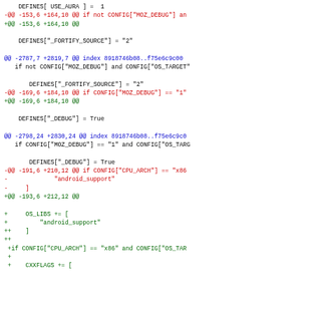diff/patch code block showing git diff output with red removed lines, green added lines, and blue hunk headers
[Figure (screenshot): Git diff output showing changes to moz.build files with hunk headers in blue, removed lines in red, added lines in green, and context lines in black]